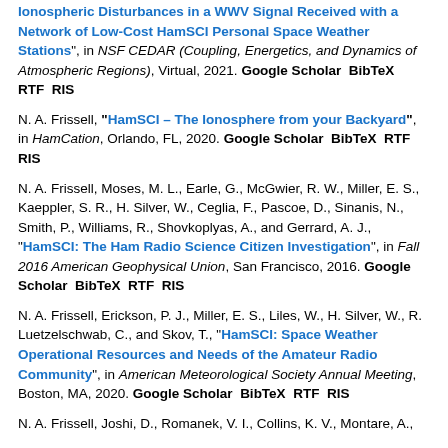Ionospheric Disturbances in a WWV Signal Received with a Network of Low-Cost HamSCI Personal Space Weather Stations", in NSF CEDAR (Coupling, Energetics, and Dynamics of Atmospheric Regions), Virtual, 2021. Google Scholar BibTeX RTF RIS
N. A. Frissell, "HamSCI – The Ionosphere from your Backyard", in HamCation, Orlando, FL, 2020. Google Scholar BibTeX RTF RIS
N. A. Frissell, Moses, M. L., Earle, G., McGwier, R. W., Miller, E. S., Kaeppler, S. R., H. Silver, W., Ceglia, F., Pascoe, D., Sinanis, N., Smith, P., Williams, R., Shovkoplyas, A., and Gerrard, A. J., "HamSCI: The Ham Radio Science Citizen Investigation", in Fall 2016 American Geophysical Union, San Francisco, 2016. Google Scholar BibTeX RTF RIS
N. A. Frissell, Erickson, P. J., Miller, E. S., Liles, W., H. Silver, W., R. Luetzelschwab, C., and Skov, T., "HamSCI: Space Weather Operational Resources and Needs of the Amateur Radio Community", in American Meteorological Society Annual Meeting, Boston, MA, 2020. Google Scholar BibTeX RTF RIS
N. A. Frissell, Joshi, D., Romanek, V. I., Collins, K. V., Montare, A.,